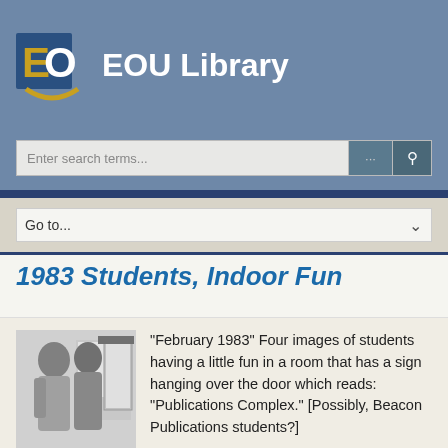[Figure (logo): EOU Library logo with stylized E and O letters in blue and gold, followed by 'EOU Library' text in white on steel-blue header background]
Enter search terms...
Go to...
1983 Students, Indoor Fun
[Figure (photo): Black and white photo of students in a room, viewed from behind]
"February 1983" Four images of students having a little fun in a room that has a sign hanging over the door which reads: "Publications Complex." [Possibly, Beacon Publications students?]
Tags: Beacon, Eastern Oregon State College, EOSC, Horsing around, Publications, Publications complex, The Beacon